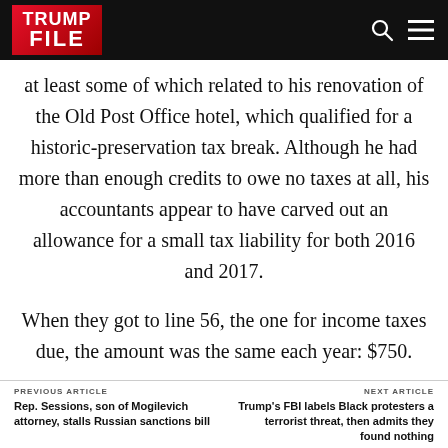TRUMP FILE
at least some of which related to his renovation of the Old Post Office hotel, which qualified for a historic-preservation tax break. Although he had more than enough credits to owe no taxes at all, his accountants appear to have carved out an allowance for a small tax liability for both 2016 and 2017.
When they got to line 56, the one for income taxes due, the amount was the same each year: $750.
PREVIOUS ARTICLE Rep. Sessions, son of Mogilevich attorney, stalls Russian sanctions bill | NEXT ARTICLE Trump's FBI labels Black protesters a terrorist threat, then admits they found nothing